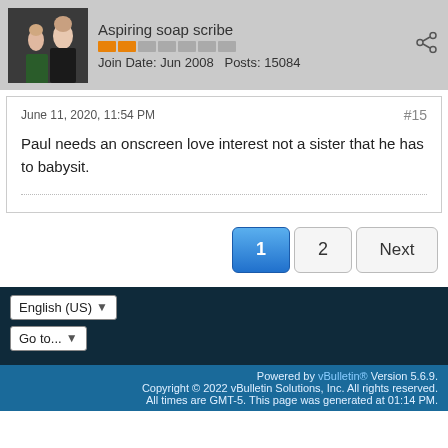Aspiring soap scribe
Join Date: Jun 2008   Posts: 15084
June 11, 2020, 11:54 PM
#15
Paul needs an onscreen love interest not a sister that he has to babysit.
1  2  Next
English (US)
Go to...
Powered by vBulletin® Version 5.6.9. Copyright © 2022 vBulletin Solutions, Inc. All rights reserved. All times are GMT-5. This page was generated at 01:14 PM.